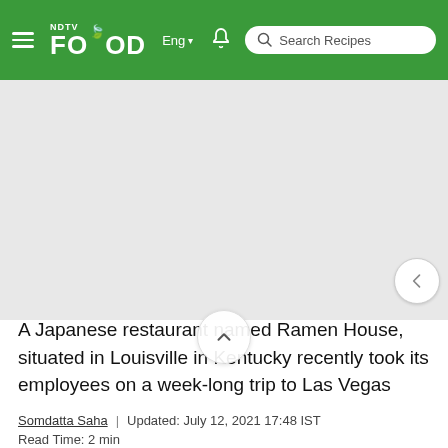NDTV Food | Eng | Search Recipes
[Figure (photo): Gray placeholder image area for article photo]
A Japanese restaurant named Ramen House, situated in Louisville in Kentucky recently took its employees on a week-long trip to Las Vegas
Somdatta Saha | Updated: July 12, 2021 17:48 IST
Read Time: 2 min